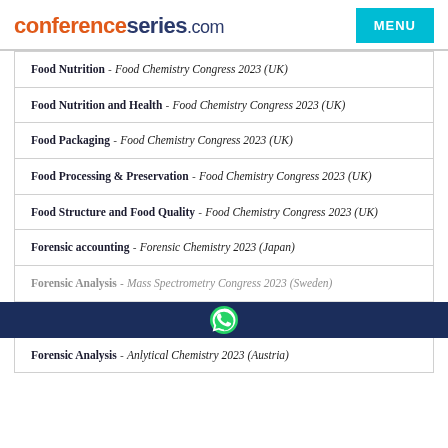conferenceseries.com
Food Nutrition - Food Chemistry Congress 2023 (UK)
Food Nutrition and Health - Food Chemistry Congress 2023 (UK)
Food Packaging - Food Chemistry Congress 2023 (UK)
Food Processing & Preservation - Food Chemistry Congress 2023 (UK)
Food Structure and Food Quality - Food Chemistry Congress 2023 (UK)
Forensic accounting - Forensic Chemistry 2023 (Japan)
Forensic Analysis - Mass Spectrometry Congress 2023 (Sweden)
Forensic Analysis - Anlytical Chemistry 2023 (Austria)